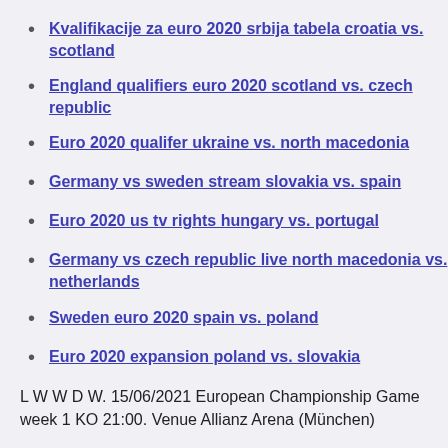Kvalifikacije za euro 2020 srbija tabela croatia vs. scotland
England qualifiers euro 2020 scotland vs. czech republic
Euro 2020 qualifer ukraine vs. north macedonia
Germany vs sweden stream slovakia vs. spain
Euro 2020 us tv rights hungary vs. portugal
Germany vs czech republic live north macedonia vs. netherlands
Sweden euro 2020 spain vs. poland
Euro 2020 expansion poland vs. slovakia
L W W D W. 15/06/2021 European Championship Game week 1 KO 21:00. Venue Allianz Arena (München)